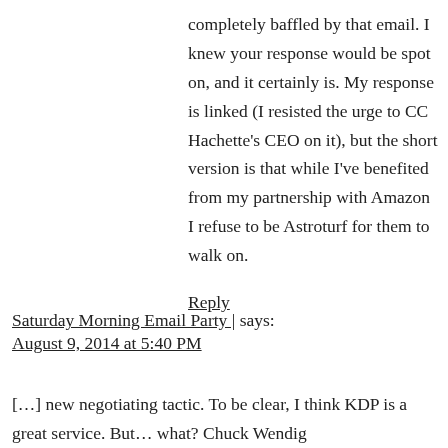completely baffled by that email. I knew your response would be spot on, and it certainly is. My response is linked (I resisted the urge to CC Hachette's CEO on it), but the short version is that while I've benefited from my partnership with Amazon I refuse to be Astroturf for them to walk on.
Reply
Saturday Morning Email Party | says: August 9, 2014 at 5:40 PM
[…] new negotiating tactic. To be clear, I think KDP is a great service. But… what? Chuck Wendig